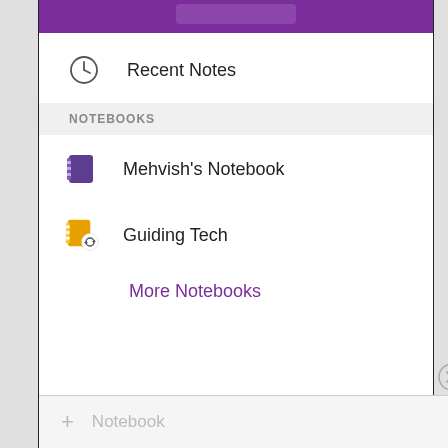[Figure (screenshot): Mobile app screenshot showing a OneNote-like notebook navigation UI with purple header, Recent Notes item with clock icon, NOTEBOOKS section header, Mehvish's Notebook item with purple notebook icon, Guiding Tech item with yellow notebook icon and sync badge, More Notebooks link in purple, and a bottom bar with + Notebook option.]
Recent Notes
NOTEBOOKS
Mehvish's Notebook
Guiding Tech
More Notebooks
+ Notebook